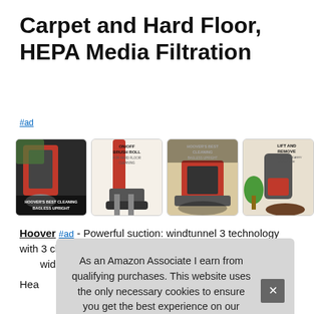Carpet and Hard Floor, HEPA Media Filtration
#ad
[Figure (photo): Four product images of a Hoover bagless upright vacuum cleaner showing features: main product shot with 'HOOVER'S BEST CLEANING BAGLESS UPRIGHT' text, ON/OFF BRUSH ROLL for hard floor cleaning, HOOVER'S BEST CLEANING BAGLESS UPRIGHT close-up, and LIFT AND REMOVE canister feature.]
Hoover #ad - Powerful suction: windtunnel 3 technology with 3 cha[nnels of] wide[...] Hea[vy-duty] stub[born dirt] [and] grass. Perfect for carpet and hardfloor; On/Off brushroll helps
As an Amazon Associate I earn from qualifying purchases. This website uses the only necessary cookies to ensure you get the best experience on our website. More information